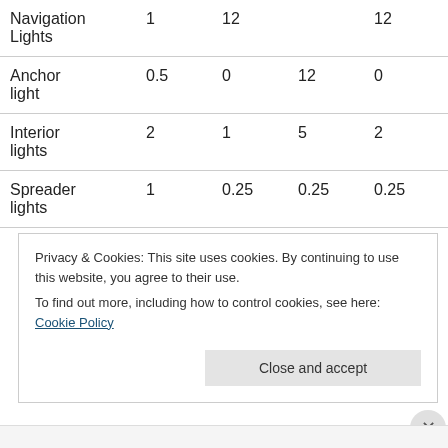| Navigation Lights | 1 | 12 |  | 12 | 0 |
| Anchor light | 0.5 | 0 | 12 | 0 | 6 |
| Interior lights | 2 | 1 | 5 | 2 | 10 |
| Spreader lights | 1 | 0.25 | 0.25 | 0.25 | 0.25 |
Privacy & Cookies: This site uses cookies. By continuing to use this website, you agree to their use.
To find out more, including how to control cookies, see here: Cookie Policy